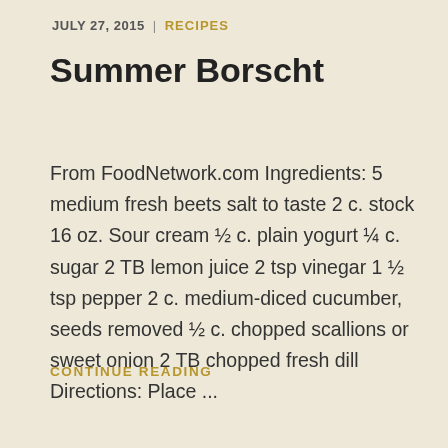JULY 27, 2015 | RECIPES
Summer Borscht
From FoodNetwork.com Ingredients: 5 medium fresh beets salt to taste 2 c. stock 16 oz. Sour cream ½ c. plain yogurt ¼ c. sugar 2 TB lemon juice 2 tsp vinegar 1 ½ tsp pepper 2 c. medium-diced cucumber, seeds removed ½ c. chopped scallions or sweet onion 2 TB chopped fresh dill Directions: Place ...
CONTINUE READING